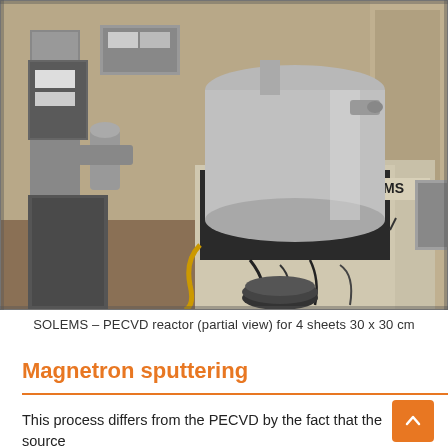[Figure (photo): SOLEMS PECVD reactor laboratory equipment showing vacuum chamber, control panels with gauges and dials, piping, and the SOLEMS brand label on the front panel.]
SOLEMS – PECVD reactor (partial view) for 4 sheets 30 x 30 cm
Magnetron sputtering
This process differs from the PECVD by the fact that the source